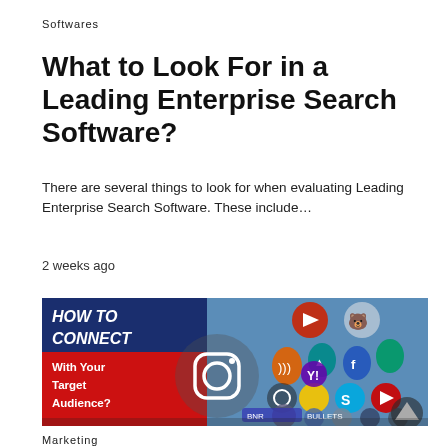Softwares
What to Look For in a Leading Enterprise Search Software?
There are several things to look for when evaluating Leading Enterprise Search Software. These include…
2 weeks ago
[Figure (photo): Promotional image with text 'HOW TO CONNECT With Your Target Audience?' on a red/blue background on the left, and social media app icons spread across a smartphone keyboard on the right.]
Marketing